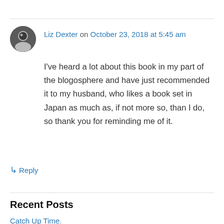Liz Dexter on October 23, 2018 at 5:45 am
I've heard a lot about this book in my part of the blogosphere and have just recommended it to my husband, who likes a book set in Japan as much as, if not more so, than I do, so thank you for reminding me of it.
↳ Reply
Recent Posts
Catch Up Time.
Well, hi.
Summer, Summer, Summer…